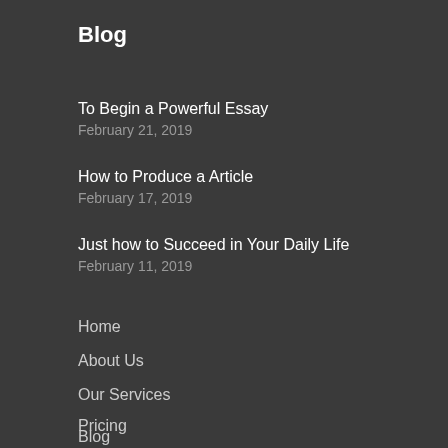Blog
To Begin a Powerful Essay
February 21, 2019
How to Produce a Article
February 17, 2019
Just how to Succeed in Your Daily Life
February 11, 2019
Home
About Us
Our Services
Pricing
Blog